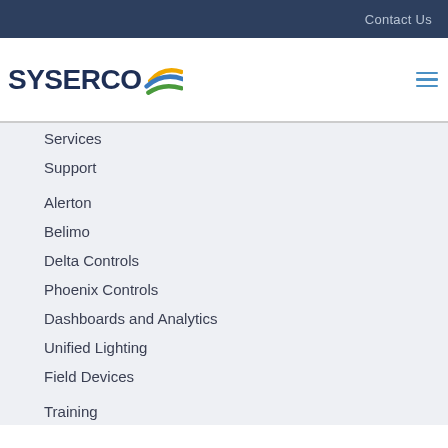Contact Us
[Figure (logo): Syserco logo with text SYSERCO and colorful swoosh graphic in blue, yellow, and green]
Services
Support
Alerton
Belimo
Delta Controls
Phoenix Controls
Dashboards and Analytics
Unified Lighting
Field Devices
Training